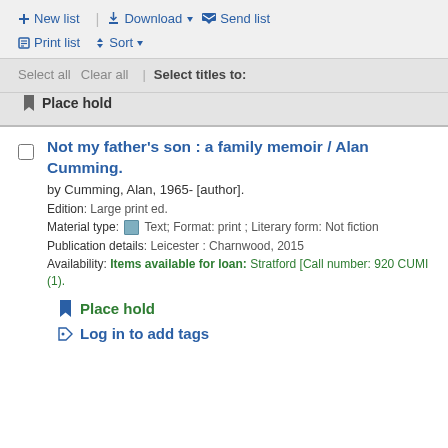New list | Download | Send list | Print list | Sort
Select all  Clear all  |  Select titles to:
Place hold
Not my father's son : a family memoir / Alan Cumming.
by Cumming, Alan, 1965- [author].
Edition: Large print ed.
Material type: Text; Format: print ; Literary form: Not fiction
Publication details: Leicester : Charnwood, 2015
Availability: Items available for loan: Stratford [Call number: 920 CUMI (1).
Place hold
Log in to add tags